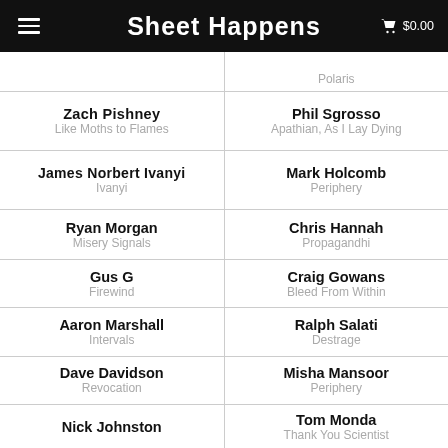Sheet Happens  $0.00
Polaris
Zach Pishney
Like Moths to Flames
Phil Sgrosso
Apathian, As I Lay Dying
James Norbert Ivanyi
Ivanyi
Mark Holcomb
Periphery
Ryan Morgan
Misery Signals
Chris Hannah
Propagandhi
Gus G
Firewind
Craig Gowans
Bleed From Within
Aaron Marshall
Intervals
Ralph Salati
Destrage
Dave Davidson
Revocation
Misha Mansoor
Periphery
Nick Johnston
Tom Monda
Thank You Scientist